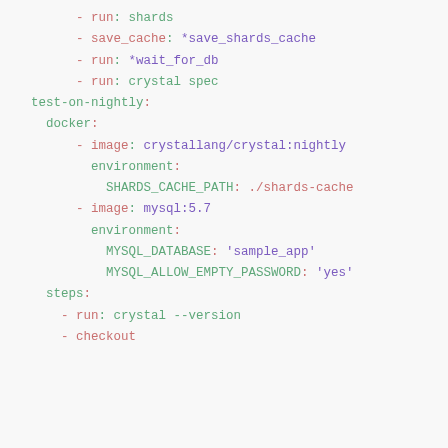YAML/CI configuration code block showing CircleCI pipeline steps including run: shards, save_cache: *save_shards_cache, run: *wait_for_db, run: crystal spec, test-on-nightly job with docker images crystallang/crystal:nightly and mysql:5.7, environment variables SHARDS_CACHE_PATH, MYSQL_DATABASE, MYSQL_ALLOW_EMPTY_PASSWORD, steps run: crystal --version, and checkout